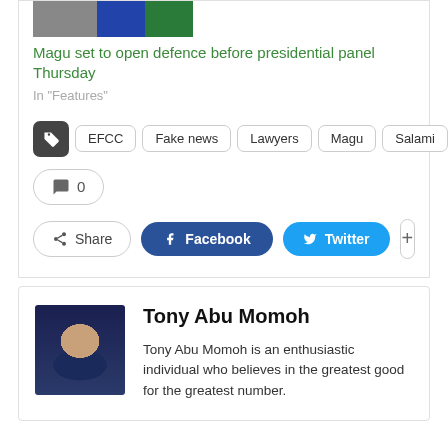[Figure (photo): Partial thumbnail image of people at top]
Magu set to open defence before presidential panel Thursday
In "Features"
EFCC   Fake news   Lawyers   Magu   Salami
0
Share   Facebook   Twitter
[Figure (photo): Photo of Tony Abu Momoh, a man with glasses]
Tony Abu Momoh
Tony Abu Momoh is an enthusiastic individual who believes in the greatest good for the greatest number.